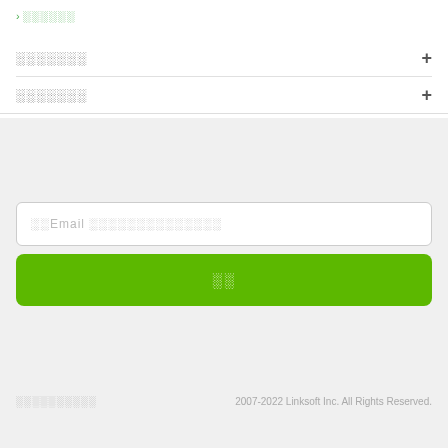› ░░░░░░
░░░░░░░  +
░░░░░░░  +
░░Email ░░░░░░░░░░░░░░
░░
░░░░░░░░░░    2007-2022 Linksoft Inc. All Rights Reserved.